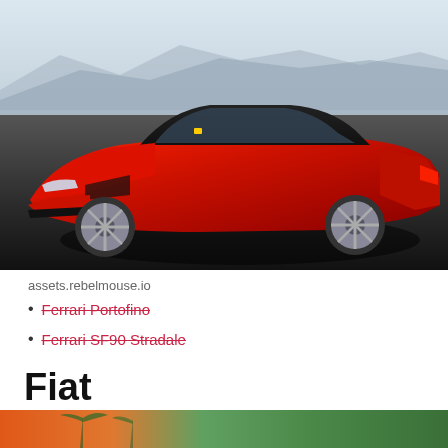[Figure (photo): A red Ferrari sports car (F8 Tributo style) photographed from a front three-quarter angle on a dark asphalt surface with a misty mountain background.]
assets.rebelmouse.io
Ferrari Portofino
Ferrari SF90 Stradale
Fiat
[Figure (photo): Partial bottom image showing what appears to be a Fiat vehicle with orange/red and green tropical background.]